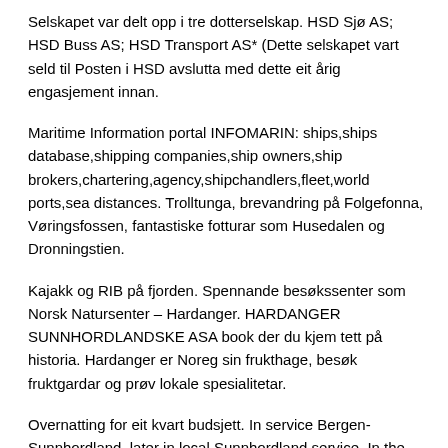Selskapet var delt opp i tre dotterselskap. HSD Sjø AS; HSD Buss AS; HSD Transport AS* (Dette selskapet vart seld til Posten i HSD avslutta med dette eit årig engasjement innan.
Maritime Information portal INFOMARIN: ships,ships database,shipping companies,ship owners,ship brokers,chartering,agency,shipchandlers,fleet,world ports,sea distances. Trolltunga, brevandring på Folgefonna, Vøringsfossen, fantastiske fotturar som Husedalen og Dronningstien.
Kajakk og RIB på fjorden. Spennande besøkssenter som Norsk Natursenter – Hardanger. HARDANGER SUNNHORDLANDSKE ASA book der du kjem tett på historia. Hardanger er Noreg sin frukthage, besøk fruktgardar og prøv lokale spesialitetar.
Overnatting for eit kvart budsjett. In service Bergen-Sunnhordland, later in local Sunnhordland service. In the summer of she was in the tourist trade in Hardanger (Odda-Tyssedal-Lofthus-Utne-Eide), otherwise in local service in Sunnhordland.